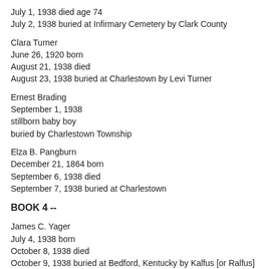July 1, 1938 died age 74
July 2, 1938 buried at Infirmary Cemetery by Clark County
Clara Turner
June 26, 1920 born
August 21, 1938 died
August 23, 1938 buried at Charlestown by Levi Turner
Ernest Brading
September 1, 1938
stillborn baby boy
buried by Charlestown Township
Elza B. Pangburn
December 21, 1864 born
September 6, 1938 died
September 7, 1938 buried at Charlestown
BOOK 4 --
James C. Yager
July 4, 1938 born
October 8, 1938 died
October 9, 1938 buried at Bedford, Kentucky by Kalfus [or Ralfus] Ya
William A. Hartman
March 26, 1864 born
November 13, 1938 died
November 14, 1938 buried at Silver Creek Cemetery